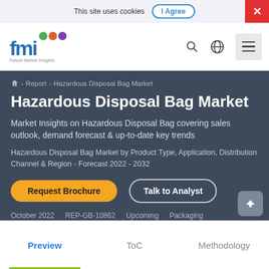This site uses cookies  I Agree
[Figure (logo): Future Market Insights (FMI) logo with colorful icons]
Report - Hazardous Disposal Bag Market
Hazardous Disposal Bag Market
Market Insights on Hazardous Disposal Bag covering sales outlook, demand forecast & up-to-date key trends
Hazardous Disposal Bag Market by Product Type, Application, Distribution Channel & Region - Forecast 2022 - 2032
Request Brochure   Talk to Analyst
October 2022   REP-GB-10862   Upcoming   Packaging
Preview   ToC   Methodology